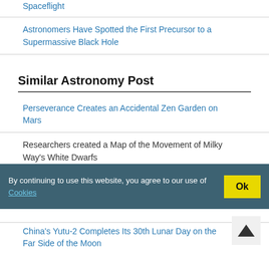Astronomers Have Spotted the First Precursor to a Supermassive Black Hole
Similar Astronomy Post
Perseverance Creates an Accidental Zen Garden on Mars
Researchers created a Map of the Movement of Milky Way's White Dwarfs
Scientists confirmed the presence of Cosmic Origin with their Radiofrequency Footprint
China's Yutu-2 Completes Its 30th Lunar Day on the Far Side of the Moon
By continuing to use this website, you agree to our use of Cookies